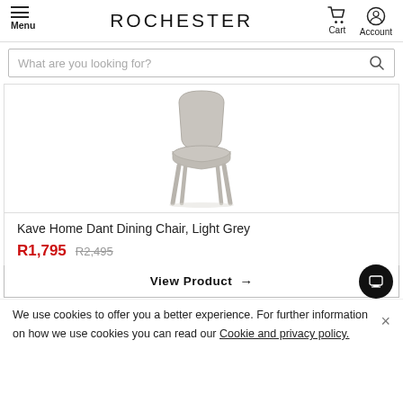Menu | ROCHESTER | Cart | Account
What are you looking for?
[Figure (photo): Light grey Kave Home Dant dining chair with upholstered seat and back on four slender legs, white background]
Kave Home Dant Dining Chair, Light Grey
R1,795  R2,495
View Product →
We use cookies to offer you a better experience. For further information on how we use cookies you can read our Cookie and privacy policy.